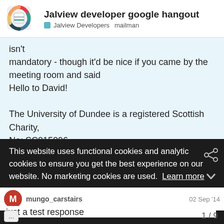Jalview developer google hangout — Jalview Developers  mailman
isn't
mandatory - though it'd be nice if you came by the meeting room and said
Hello to David!

The University of Dundee is a registered Scottish Charity, No: SC015096
This website uses functional cookies and analytic cookies to ensure you get the best experience on our website. No marketing cookies are used. Learn more
Okay
mungo_carstairs
02 Sep '14
just a test response
1 / 9